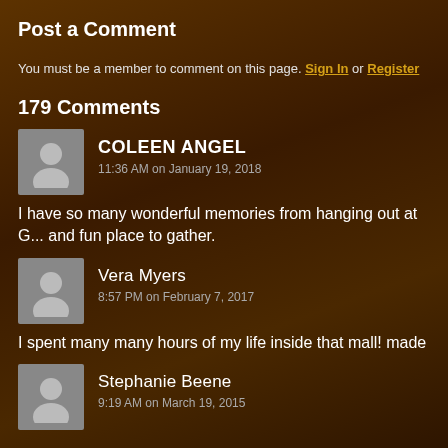Post a Comment
You must be a member to comment on this page. Sign In or Register
179 Comments
COLEEN ANGEL
11:36 AM on January 19, 2018
I have so many wonderful memories from hanging out at G... and fun place to gather.
Vera Myers
8:57 PM on February 7, 2017
I spent many many hours of my life inside that mall!  made
Stephanie Beene
9:19 AM on March 19, 2015